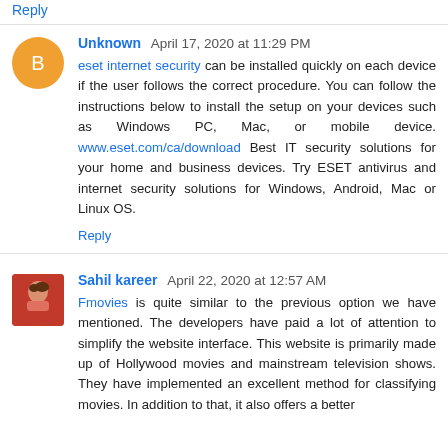Reply (link at top, partially visible)
Unknown April 17, 2020 at 11:29 PM
eset internet security can be installed quickly on each device if the user follows the correct procedure. You can follow the instructions below to install the setup on your devices such as Windows PC, Mac, or mobile device. www.eset.com/ca/download Best IT security solutions for your home and business devices. Try ESET antivirus and internet security solutions for Windows, Android, Mac or Linux OS.
Reply
Sahil kareer April 22, 2020 at 12:57 AM
Fmovies is quite similar to the previous option we have mentioned. The developers have paid a lot of attention to simplify the website interface. This website is primarily made up of Hollywood movies and mainstream television shows. They have implemented an excellent method for classifying movies. In addition to that, it also offers a better